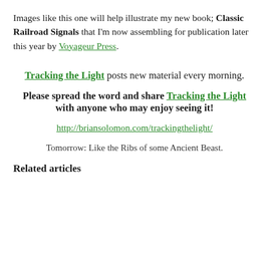Images like this one will help illustrate my new book; Classic Railroad Signals that I'm now assembling for publication later this year by Voyageur Press.
Tracking the Light posts new material every morning.
Please spread the word and share Tracking the Light with anyone who may enjoy seeing it!
http://briansolomon.com/trackingthelight/
Tomorrow: Like the Ribs of some Ancient Beast.
Related articles